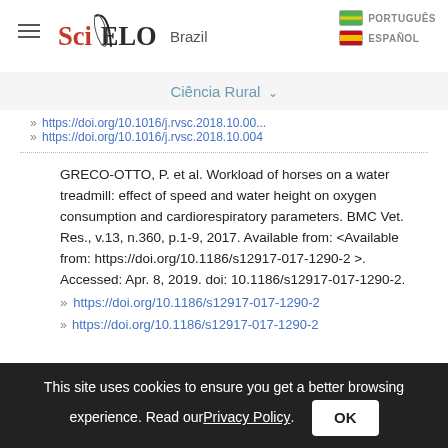SciELO Brazil | PORTUGUÊS | ESPAÑOL
Ciência Rural ▾
» https://doi.org/10.1016/j.rvsc.2018.10.00...
» https://doi.org/10.1016/j.rvsc.2018.10.004
GRECO-OTTO, P. et al. Workload of horses on a water treadmill: effect of speed and water height on oxygen consumption and cardiorespiratory parameters. BMC Vet. Res., v.13, n.360, p.1-9, 2017. Available from: <Available from: https://doi.org/10.1186/s12917-017-1290-2 >. Accessed: Apr. 8, 2019. doi: 10.1186/s12917-017-1290-2.
» https://doi.org/10.1186/s12917-017-1290-2
This site uses cookies to ensure you get a better browsing experience. Read our Privacy Policy.